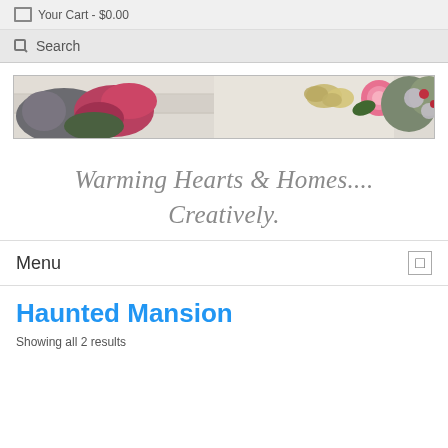Your Cart - $0.00
Search
[Figure (photo): Decorative banner image showing flowers, a butterfly, and floral arrangements on a white wood background]
Warming Hearts & Homes.... Creatively.
Menu
Haunted Mansion
Showing all 2 results